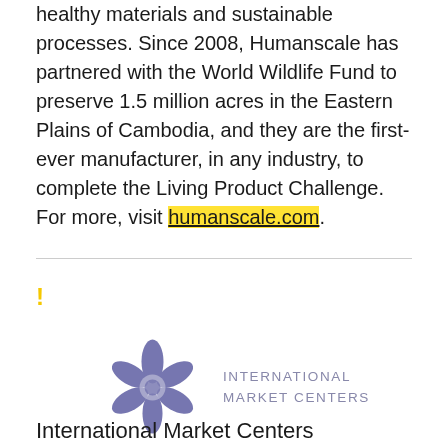healthy materials and sustainable processes. Since 2008, Humanscale has partnered with the World Wildlife Fund to preserve 1.5 million acres in the Eastern Plains of Cambodia, and they are the first-ever manufacturer, in any industry, to complete the Living Product Challenge. For more, visit humanscale.com.
!
[Figure (logo): International Market Centers logo — a blue-purple geometric star/flower shape made of interlocking curved hexagonal pieces, followed by text INTERNATIONAL MARKET CENTERS in spaced capitals]
International Market Centers